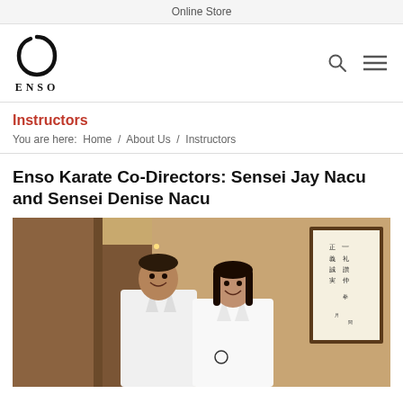Online Store
[Figure (logo): Enso circle logo with ENSO text below]
Instructors
You are here:  Home  /  About Us  /  Instructors
Enso Karate Co-Directors: Sensei Jay Nacu and Sensei Denise Nacu
[Figure (photo): Two people in white karate gi uniforms smiling, standing in front of a warm-toned wall with a framed Japanese calligraphy scroll on the right.]